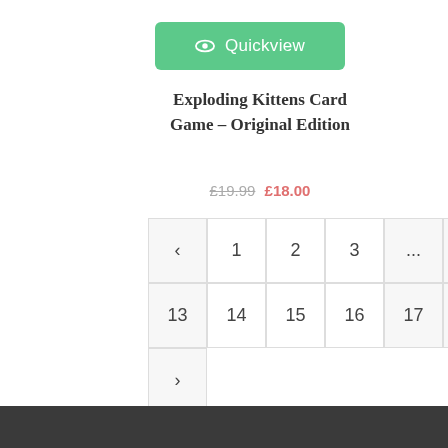[Figure (screenshot): Green Quickview button with eye icon]
Exploding Kittens Card Game – Original Edition
£19.99  £18.00
[Figure (screenshot): Pagination grid showing: < 1 2 3 ... 12 / 13 14 15 16 17 18 / >]